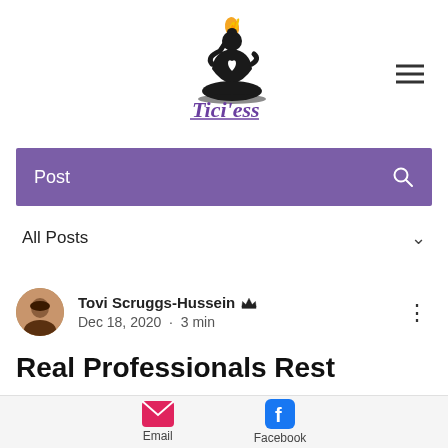[Figure (logo): Tici'ess logo: silhouette of person in lotus yoga pose holding a flame, with script text 'Tici'ess' and a heart on the chest]
Post
All Posts
Tovi Scruggs-Hussein  Dec 18, 2020 · 3 min
Real Professionals Rest
Updated: Sep 16, 2021
Email  Facebook